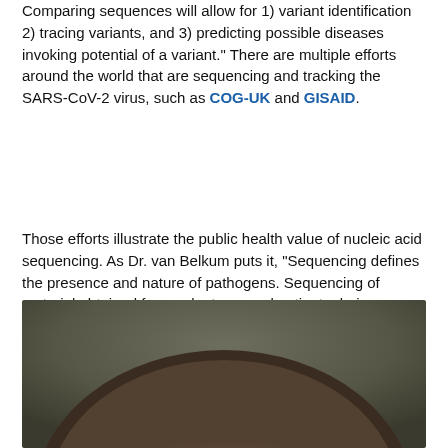Comparing sequences will allow for 1) variant identification 2) tracing variants, and 3) predicting possible diseases invoking potential of a variant." There are multiple efforts around the world that are sequencing and tracking the SARS-CoV-2 virus, such as COG-UK and GISAID.
Those efforts illustrate the public health value of nucleic acid sequencing. As Dr. van Belkum puts it, “Sequencing defines the presence and nature of pathogens. Sequencing of material obtained from volunteers and patients during surveillance defines where a pathogen is located, where it may be spreading to, whether it evolves and adapts to change the speed with which it spreads, the severity of the diseases it causes, whether it remains susceptible to the available vaccines, and more.”
[Figure (photo): Close-up photograph of a person's head/scalp, partially cropped, showing skin texture against a dark background.]